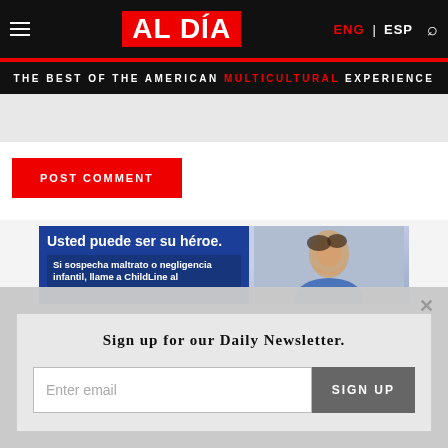AL DÍA — ENG | ESP — THE BEST OF THE AMERICAN MULTICULTURAL EXPERIENCE
POST COMMENT
[Figure (illustration): Ad banner: 'Usted puede ser su héroe. Si sospecha maltrato o negligencia infantil, llame a ChildLine al' with image of a smiling child on right side, blue background.]
Sign up for our Daily Newsletter.
Enter email
SIGN UP